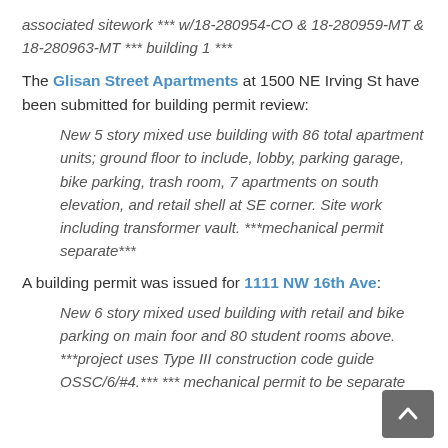associated sitework *** w/18-280954-CO & 18-280959-MT & 18-280963-MT *** building 1 ***
The Glisan Street Apartments at 1500 NE Irving St have been submitted for building permit review:
New 5 story mixed use building with 86 total apartment units; ground floor to include, lobby, parking garage, bike parking, trash room, 7 apartments on south elevation, and retail shell at SE corner. Site work including transformer vault. ***mechanical permit separate***
A building permit was issued for 1111 NW 16th Ave:
New 6 story mixed used building with retail and bike parking on main foor and 80 student rooms above. ***project uses Type III construction code guide OSSC/6/#4.*** *** mechanical permit to be separate